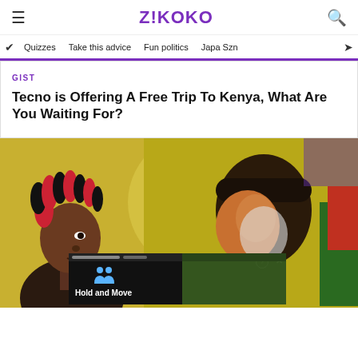Z!KOKO
Quizzes   Take this advice   Fun politics   Japa Szn
GIST
Tecno is Offering A Free Trip To Kenya, What Are You Waiting For?
[Figure (photo): Young woman with red and black coil braids in front of a colorful street mural featuring a painted figure]
[Figure (screenshot): Ad overlay showing 'Hold and Move' with people icon and forest background, with close/help buttons]